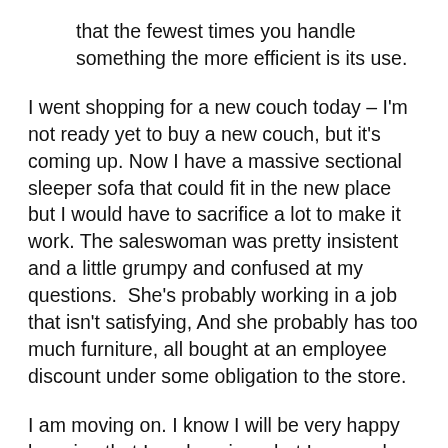that the fewest times you handle something the more efficient is its use.
I went shopping for a new couch today – I'm not ready yet to buy a new couch, but it's coming up. Now I have a massive sectional sleeper sofa that could fit in the new place but I would have to sacrifice a lot to make it work. The saleswoman was pretty insistent and a little grumpy and confused at my questions.  She's probably working in a job that isn't satisfying, And she probably has too much furniture, all bought at an employee discount under some obligation to the store.
I am moving on. I know I will be very happy knowing that I am keeping what I use and giving away what I don't use. I can honestly say I no longer need to see collections of objects in order to be happy and feel safe at home. I can